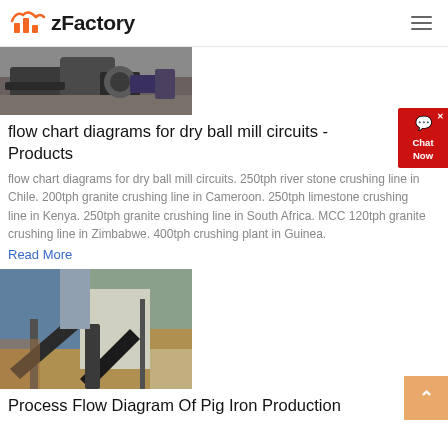zFactory
[Figure (photo): Industrial machinery/equipment on ground, partial view cut off at top]
flow chart diagrams for dry ball mill circuits - Products
flow chart diagrams for dry ball mill circuits. 250tph river stone crushing line in Chile. 200tph granite crushing line in Cameroon. 250tph limestone crushing line in Kenya. 250tph granite crushing line in South Africa. MCC 120tph granite crushing line in Zimbabwe. 400tph crushing plant in Guinea.
Read More
[Figure (photo): Outdoor industrial crushing/processing plant with conveyor belts on a hillside]
Process Flow Diagram Of Pig Iron Production